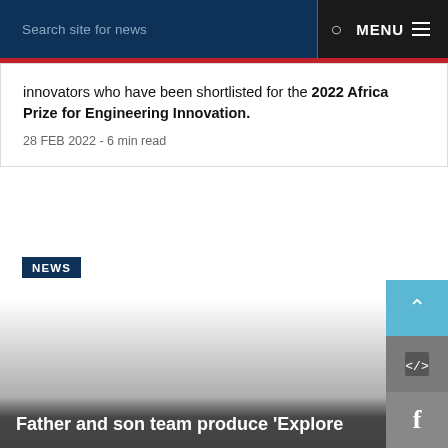Search site for news   MENU
innovators who have been shortlisted for the 2022 Africa Prize for Engineering Innovation.
28 FEB 2022 - 6 min read
NEWS
Father and son team produce 'Explore